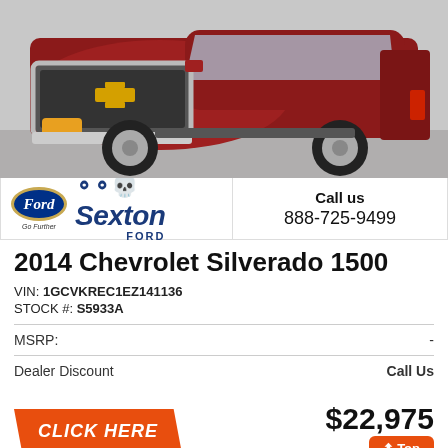[Figure (photo): Front three-quarter view of a dark red 2014 Chevrolet Silverado 1500 pickup truck]
[Figure (logo): Ford blue oval logo with 'Go Further' tagline and Sexton Ford dealer name in navy blue]
Call us
888-725-9499
2014 Chevrolet Silverado 1500
VIN: 1GCVKREC1EZ141136
STOCK #: S5933A
MSRP:  -
Dealer Discount   Call Us
CLICK HERE
$22,975